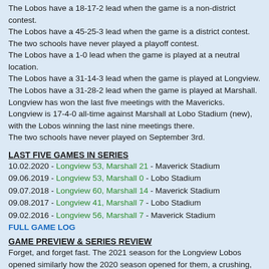The Lobos have a 18-17-2 lead when the game is a non-district contest.
The Lobos have a 45-25-3 lead when the game is a district contest.
The two schools have never played a playoff contest.
The Lobos have a 1-0 lead when the game is played at a neutral location.
The Lobos have a 31-14-3 lead when the game is played at Longview.
The Lobos have a 31-28-2 lead when the game is played at Marshall.
Longview has won the last five meetings with the Mavericks.
Longview is 17-4-0 all-time against Marshall at Lobo Stadium (new), with the Lobos winning the last nine meetings there.
The two schools have never played on September 3rd.
LAST FIVE GAMES IN SERIES
10.02.2020 - Longview 53, Marshall 21 - Maverick Stadium
09.06.2019 - Longview 53, Marshall 0 - Lobo Stadium
09.07.2018 - Longview 60, Marshall 14 - Maverick Stadium
09.08.2017 - Longview 41, Marshall 7 - Lobo Stadium
09.02.2016 - Longview 56, Marshall 7 - Maverick Stadium
FULL GAME LOG
GAME PREVIEW & SERIES REVIEW
Forget, and forget fast. The 2021 season for the Longview Lobos opened similarly how the 2020 season opened for them, a crushing, blow out defeat. It was a comedy of errors as the Lobos experienced penalties, fumbles, interceptions and even a blocked punt in their 40-7 opening season loss to the state number one team in the Denton Ryan Raiders. Longview, opening their 112th season of football, suffered the 3rd worst defeat to open a campaign in the history of their program last